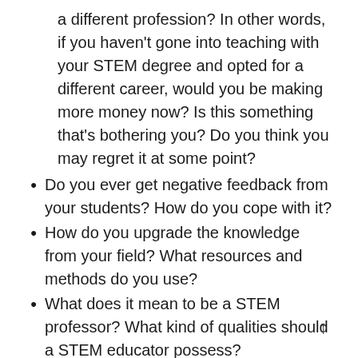a different profession? In other words, if you haven't gone into teaching with your STEM degree and opted for a different career, would you be making more money now? Is this something that's bothering you? Do you think you may regret it at some point?
Do you ever get negative feedback from your students? How do you cope with it?
How do you upgrade the knowledge from your field? What resources and methods do you use?
What does it mean to be a STEM professor? What kind of qualities should a STEM educator possess?
What does your relationship with your students look like? Can it be better? Should